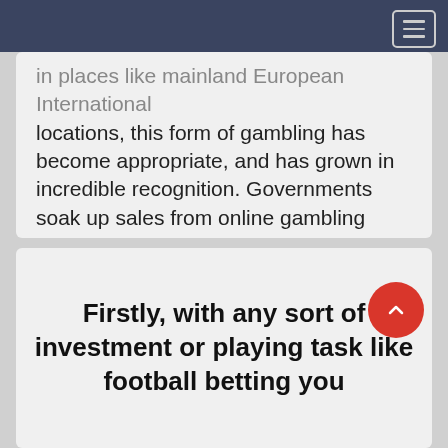in places like mainland European International locations, this form of gambling has become appropriate, and has grown in incredible recognition. Governments soak up sales from online gambling operations, and punters are happy acting bets online in honest regulated markets. USA primarily based casino operators ought to learn from these already successful strategies of playing operation s and tr
Firstly, with any sort of investment or playing task like football betting you